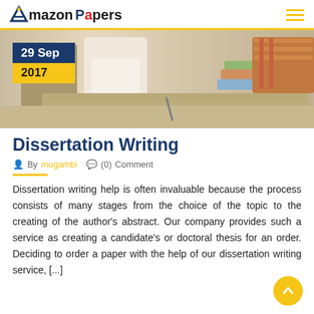Amazon Papers
[Figure (photo): Classroom scene showing students writing at desks, with a date overlay showing '29 Sep' and '2017']
Dissertation Writing
By mugambi  (0) Comment
Dissertation writing help is often invaluable because the process consists of many stages from the choice of the topic to the creating of the author's abstract. Our company provides such a service as creating a candidate's or doctoral thesis for an order. Deciding to order a paper with the help of our dissertation writing service, [...]